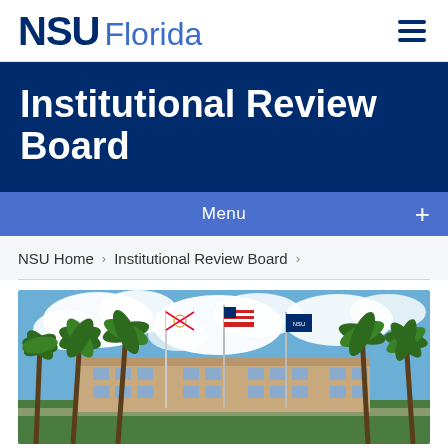NSU Florida
Institutional Review Board
Menu
NSU Home > Institutional Review Board >
[Figure (photo): Photo of NSU Florida campus building with palm trees and three flags (Florida state flag, US flag, NSU flag) against a partly cloudy blue sky]